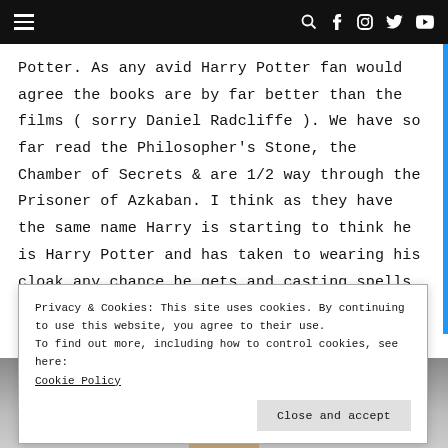Navigation bar with hamburger menu and social icons
Potter. As any avid Harry Potter fan would agree the books are by far better than the films ( sorry Daniel Radcliffe ). We have so far read the Philosopher's Stone, the Chamber of Secrets & are 1/2 way through the Prisoner of Azkaban. I think as they have the same name Harry is starting to think he is Harry Potter and has taken to wearing his cloak any chance he gets and casting spells on anyone who enters the house.
Privacy & Cookies: This site uses cookies. By continuing to use this website, you agree to their use.
To find out more, including how to control cookies, see here:
Cookie Policy

Close and accept
[Figure (photo): Bottom portion of a photograph visible below the cookie consent banner, showing a person's hand or figure.]